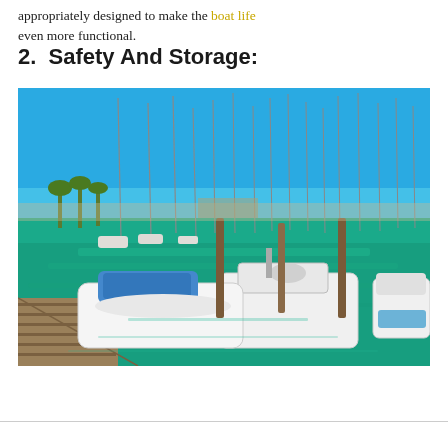appropriately designed to make the boat life even more functional.
2.  Safety And Storage:
[Figure (photo): A marina with numerous white sailboats and motorboats docked in turquoise-green water under a clear blue sky, with a wooden dock in the foreground and palm trees visible in the background.]